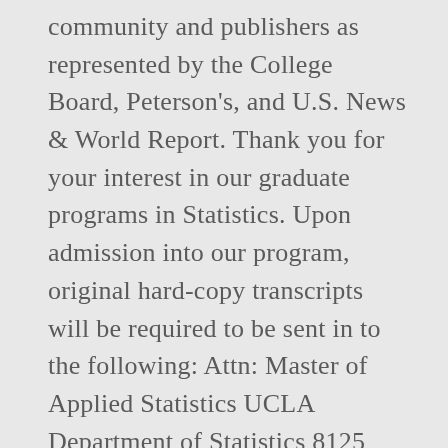community and publishers as represented by the College Board, Peterson's, and U.S. News & World Report. Thank you for your interest in our graduate programs in Statistics. Upon admission into our program, original hard-copy transcripts will be required to be sent in to the following: Attn: Master of Applied Statistics UCLA Department of Statistics 8125 Math Sciences Building Los Angeles, CA 90095-1554. Meet UCLA faculty, learn graduate school admissions requirements, acceptance rates, and deadlines, and which programs offer doctoral and master's degrees. 445 Charles E. Young Dr East 2686 Schoenberg Music Building Los Angeles, CA 90095 When a decision is